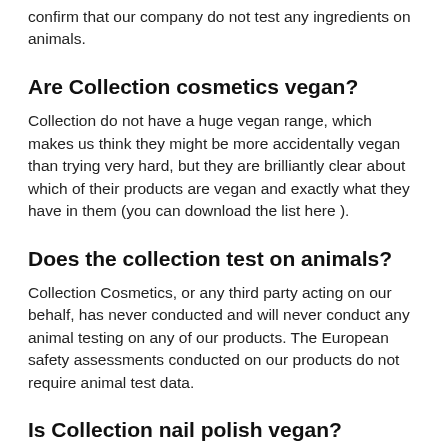confirm that our company do not test any ingredients on animals.
Are Collection cosmetics vegan?
Collection do not have a huge vegan range, which makes us think they might be more accidentally vegan than trying very hard, but they are brilliantly clear about which of their products are vegan and exactly what they have in them (you can download the list here ).
Does the collection test on animals?
Collection Cosmetics, or any third party acting on our behalf, has never conducted and will never conduct any animal testing on any of our products. The European safety assessments conducted on our products do not require animal test data.
Is Collection nail polish vegan?
Their nail care collection is entirely vegan – from various